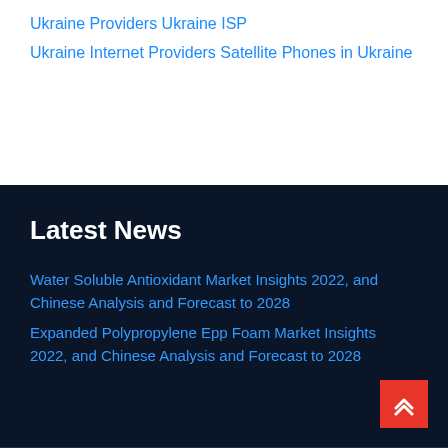Ukraine Providers
Ukraine ISP
Ukraine Internet Providers
Satellite Phones in Ukraine
Latest News
Water Soluble Antioxidant Market Insights 2022, and Chinese Analysis and Forecast to 2028
Expanded Polypropylene Epp Foam Market Insights 2022, and Chinese Analysis and Forecast to 2028